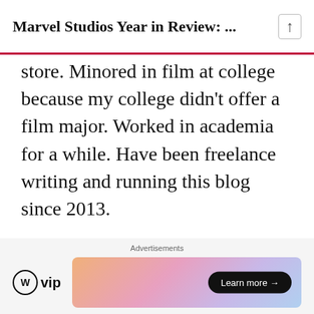Marvel Studios Year in Review: ...
store. Minored in film at college because my college didn't offer a film major. Worked in academia for a while. Have been freelance writing and running this blog since 2013.
VIEW ALL POSTS BY KELLY KONDA →
[Figure (other): Home icon (house symbol)]
6 comments
[Figure (other): Advertisement banner with WordPress VIP logo and 'Learn more →' button on a colorful gradient background]